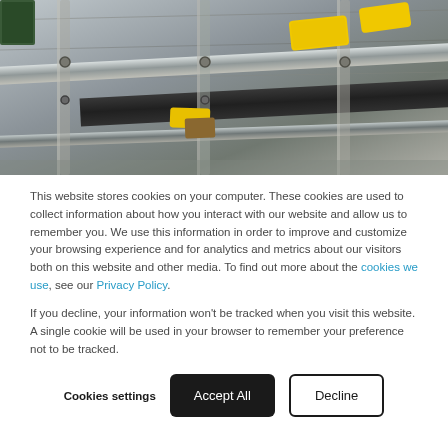[Figure (photo): Close-up photo of industrial machinery components with yellow plastic rollers/guides and metal rails/bars in a manufacturing or conveyor system setting.]
This website stores cookies on your computer. These cookies are used to collect information about how you interact with our website and allow us to remember you. We use this information in order to improve and customize your browsing experience and for analytics and metrics about our visitors both on this website and other media. To find out more about the cookies we use, see our Privacy Policy.
If you decline, your information won’t be tracked when you visit this website. A single cookie will be used in your browser to remember your preference not to be tracked.
Cookies settings
Accept All
Decline